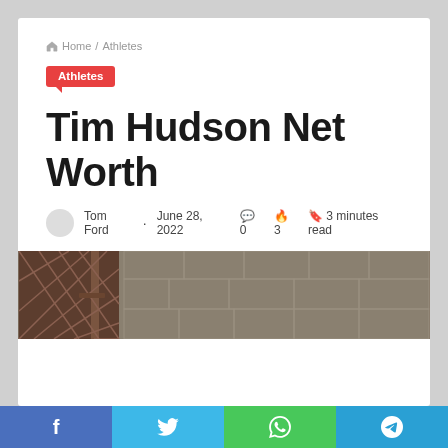Home / Athletes
Athletes
Tim Hudson Net Worth
Tom Ford · June 28, 2022  0  3  3 minutes read
[Figure (photo): Outdoor photo showing chain-link fence on left and stone/concrete block wall in background]
f  t  WhatsApp icon  Telegram icon